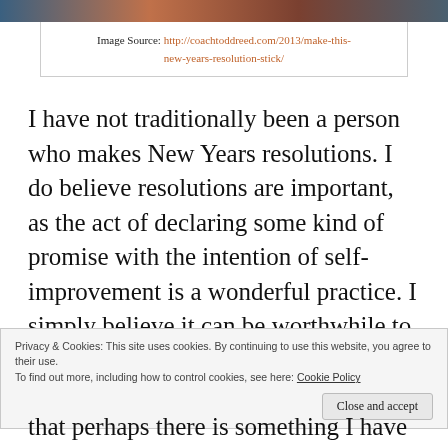[Figure (photo): Partial photo strip at the top of the page showing a blurred outdoor or portrait image in warm and cool tones]
Image Source: http://coachtoddreed.com/2013/make-this-new-years-resolution-stick/
I have not traditionally been a person who makes New Years resolutions. I do believe resolutions are important, as the act of declaring some kind of promise with the intention of self-improvement is a wonderful practice. I simply believe it can be worthwhile to declare resolutions throughout the year.
Privacy & Cookies: This site uses cookies. By continuing to use this website, you agree to their use.
To find out more, including how to control cookies, see here: Cookie Policy
that perhaps there is something I have